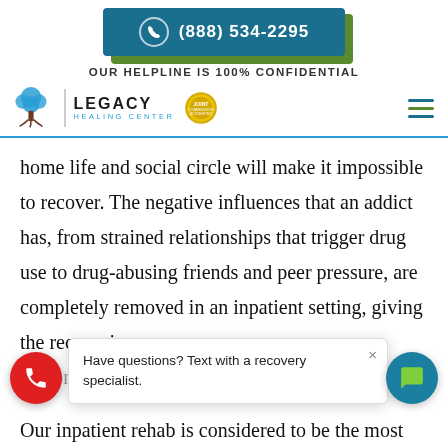(888) 534-2295
OUR HELPLINE IS 100% CONFIDENTIAL
[Figure (logo): Legacy Healing Center logo with tree illustration, vertical divider, text LEGACY HEALING CENTER, and gold badge/medal icon]
home life and social circle will make it impossible to recover. The negative influences that an addict has, from strained relationships that trigger drug use to drug-abusing friends and peer pressure, are completely removed in an inpatient setting, giving the recovering pe...
Have questions? Text with a recovery specialist.
Our inpatient rehab is considered to be the most